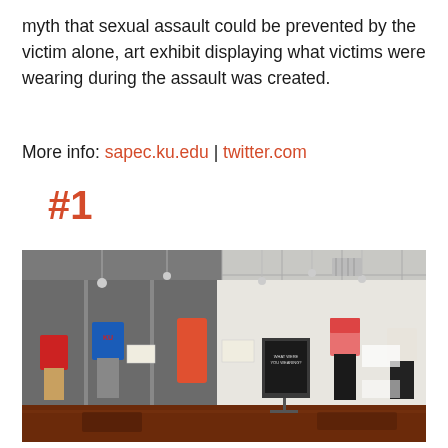myth that sexual assault could be prevented by the victim alone, art exhibit displaying what victims were wearing during the assault was created.
More info: sapec.ku.edu | twitter.com
#1
[Figure (photo): Interior of an art exhibit gallery showing clothing items displayed on hangers suspended from the ceiling and mounted on walls. Multiple outfits are displayed including a red top with tan shorts, a blue KU t-shirt with grey pants, an orange/red dress, and other garments on the right side. The room has dark wood floors and grey walls on the left portion and white walls on the right. Spotlights hang from a drop ceiling.]